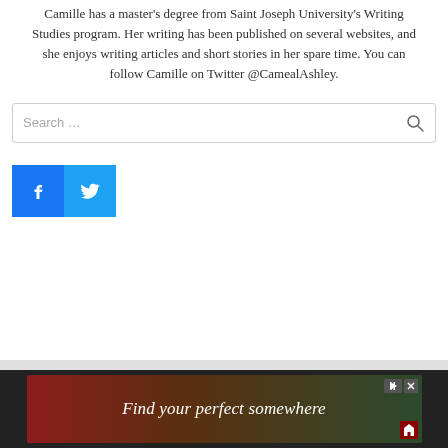Camille has a master's degree from Saint Joseph University's Writing Studies program. Her writing has been published on several websites, and she enjoys writing articles and short stories in her spare time. You can follow Camille on Twitter @CamealAshley.
[Figure (screenshot): Search bar with magnifying glass icon and light gray border]
[Figure (infographic): Social media share buttons: Facebook (blue with 'f' icon) and Twitter (light blue with bird icon)]
[Figure (screenshot): Advertisement banner with dark background reading 'Find your perfect somewhere' with play and close controls, Houzz logo bottom right]